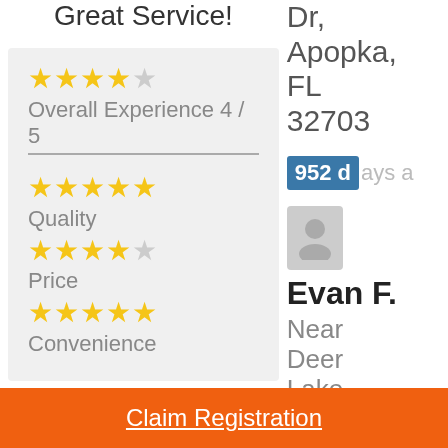Great Service!
Overall Experience 4 / 5
Quality
Price
Convenience
Dr, Apopka, FL 32703
952 days a
Evan F.
Near Deer Lake
Claim Registration